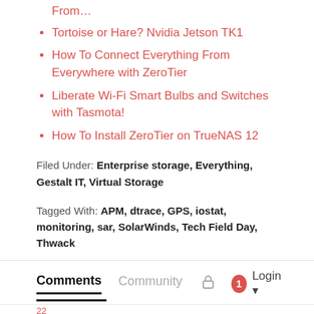From…
Tortoise or Hare? Nvidia Jetson TK1
How To Connect Everything From Everywhere with ZeroTier
Liberate Wi-Fi Smart Bulbs and Switches with Tasmota!
How To Install ZeroTier on TrueNAS 12
Filed Under: Enterprise storage, Everything, Gestalt IT, Virtual Storage
Tagged With: APM, dtrace, GPS, iostat, monitoring, sar, SolarWinds, Tech Field Day, Thwack
Comments  Community  Login  1